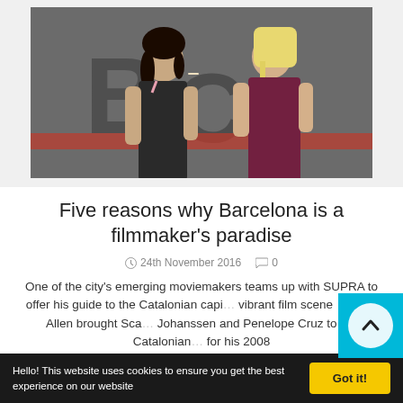[Figure (photo): Two women facing each other in front of a graffiti wall; one dark-haired, one blonde.]
Five reasons why Barcelona is a filmmaker's paradise
24th November 2016   0
One of the city's emerging moviemakers teams up with SUPRA to offer his guide to the Catalonian capi... vibrant film scene  Woody Allen brought Sca... Johanssen and Penelope Cruz to the Catalonian... for his 2008
Hello! This website uses cookies to ensure you get the best experience on our website